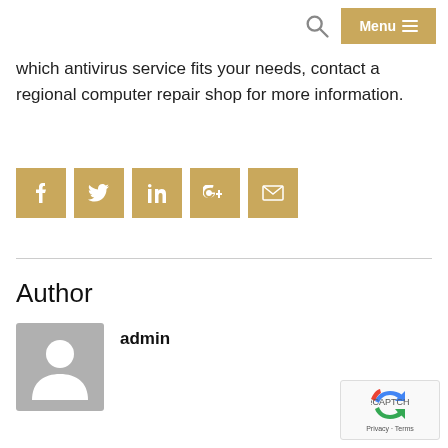Menu
which antivirus service fits your needs, contact a regional computer repair shop for more information.
[Figure (other): Social share icons: Facebook, Twitter, LinkedIn, Google+, Email — gold square buttons with white icons]
Author
[Figure (other): Default user avatar placeholder — grey square with person silhouette icon]
admin